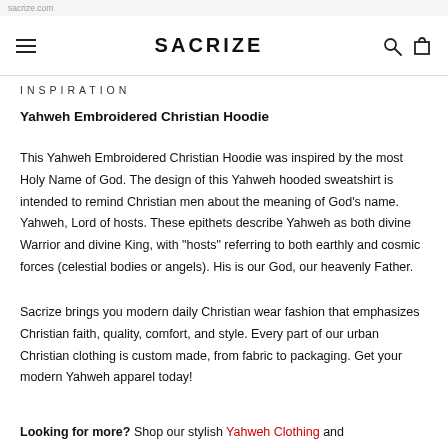SACRIZE
INSPIRATION
Yahweh Embroidered Christian Hoodie
This Yahweh Embroidered Christian Hoodie was inspired by the most Holy Name of God. The design of this Yahweh hooded sweatshirt is intended to remind Christian men about the meaning of God's name. Yahweh, Lord of hosts. These epithets describe Yahweh as both divine Warrior and divine King, with "hosts" referring to both earthly and cosmic forces (celestial bodies or angels). His is our God, our heavenly Father.
Sacrize brings you modern daily Christian wear fashion that emphasizes Christian faith, quality, comfort, and style. Every part of our urban Christian clothing is custom made, from fabric to packaging. Get your modern Yahweh apparel today!
Looking for more? Shop our stylish Yahweh Clothing and